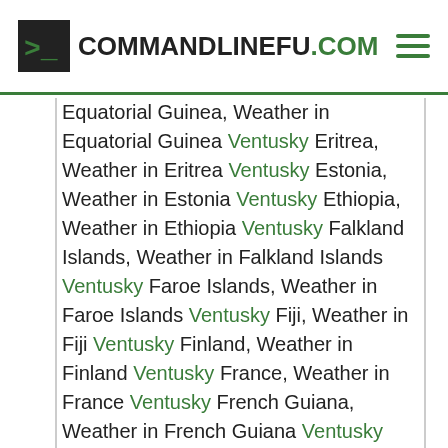COMMANDLINEFU.COM
Equatorial Guinea, Weather in Equatorial Guinea Ventusky Eritrea, Weather in Eritrea Ventusky Estonia, Weather in Estonia Ventusky Ethiopia, Weather in Ethiopia Ventusky Falkland Islands, Weather in Falkland Islands Ventusky Faroe Islands, Weather in Faroe Islands Ventusky Fiji, Weather in Fiji Ventusky Finland, Weather in Finland Ventusky France, Weather in France Ventusky French Guiana, Weather in French Guiana Ventusky French Polynesia, Weather in French Polynesia Ventusky Gabon, Weather in Gabon Ventusky Gambia, Weather in Gambia Ventusky Georgia, Weather in Georgia Ventusky Germany, Weather in Germany Ventusky Ghana, Weather in Ghana Ventusky Gibraltar, Weather in Gibraltar Ventusky Greece, Weather in Greece Ventusky Greenland, Weather in Greenland Ventusky Grenada, Weather in Grenada Ventusky Guadeloupe, Weather in Guadeloupe,